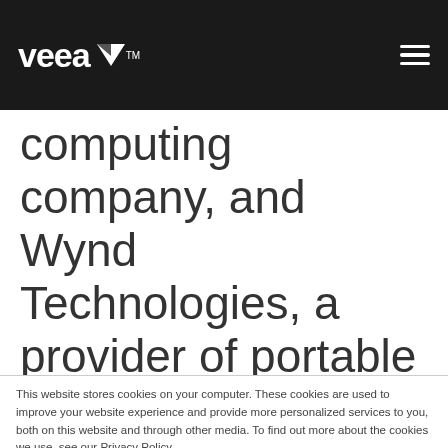[Figure (logo): Veea logo with white text and arrow icon on black background, plus hamburger menu icon on right]
computing company, and Wynd Technologies, a provider of portable air purifiers.
This website stores cookies on your computer. These cookies are used to improve your website experience and provide more personalized services to you, both on this website and through other media. To find out more about the cookies we use, see our Privacy Policy.
We won't track your information when you visit our site. But in order to comply with your preferences, we'll have to use just one tiny cookie so that you're not asked to make this choice again.